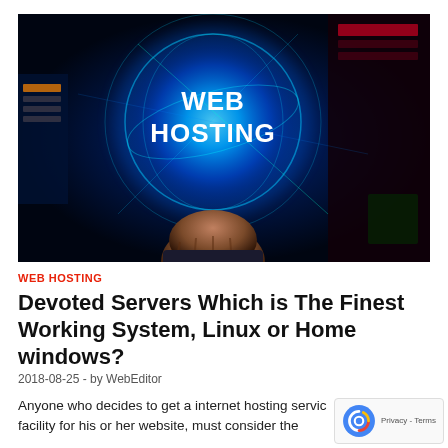[Figure (photo): A person holding a glowing blue holographic globe with 'WEB HOSTING' text displayed prominently in white bold letters, surrounded by digital network lines and server equipment in the background.]
WEB HOSTING
Devoted Servers Which is The Finest Working System, Linux or Home windows?
2018-08-25  -  by WebEditor
Anyone who decides to get a internet hosting service facility for his or her website, must consider the